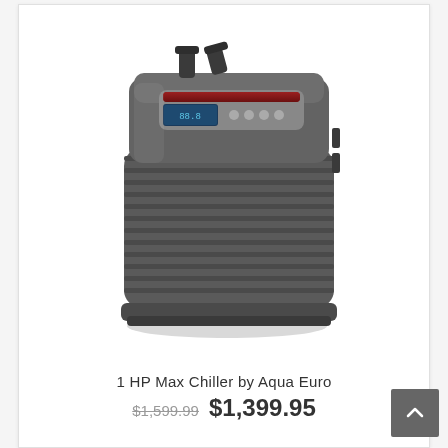[Figure (photo): 1 HP Max Chiller by Aqua Euro — a dark grey/charcoal aquarium water chiller unit with ribbed body, digital display panel on top, water inlet/outlet fittings at the top, and a rounded rectangular form factor.]
1 HP Max Chiller by Aqua Euro
$1,599.99  $1,399.95